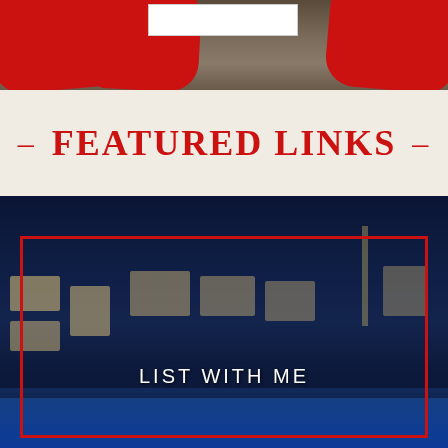[Figure (photo): Top portion showing red card shapes on a wooden background with a white box in the center]
– FEATURED LINKS –
[Figure (photo): Night photo of a modern luxury house with illuminated windows and a pool in the foreground, with a red border overlay and text 'LIST WITH ME']